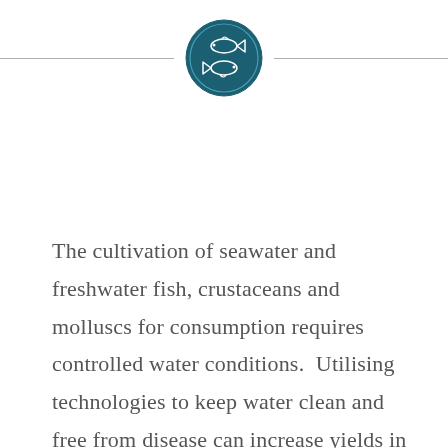[Figure (illustration): Dark teal circular icon with two fish silhouettes inside, flanked by horizontal rules on each side]
The cultivation of seawater and freshwater fish, crustaceans and molluscs for consumption requires controlled water conditions.  Utilising technologies to keep water clean and free from disease can increase yields in existing infrastructures.  Our expertise and solutions can help farmers produce healthier and larger fish, improved water quality, possible increases in stock